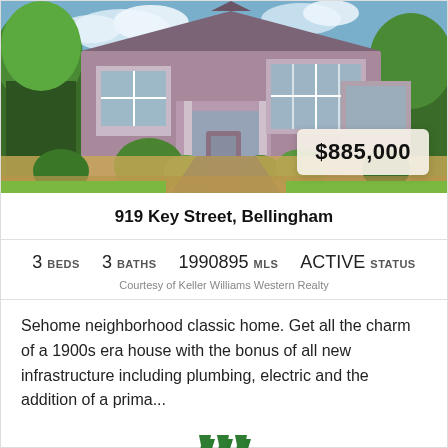[Figure (photo): Exterior photo of a large two-story purple/mauve craftsman-style house with bay windows, large front porch, evergreen shrubs. Price badge showing $885,000 overlay in bottom right.]
919 Key Street, Bellingham
3 BEDS   3 BATHS   1990895 MLS   ACTIVE STATUS
Courtesy of Keller Williams Western Realty
Sehome neighborhood classic home. Get all the charm of a 1900s era house with the bonus of all new infrastructure including plumbing, electric and the addition of a prima...
[Figure (logo): Keller Williams logo — three green chevron/zigzag marks]